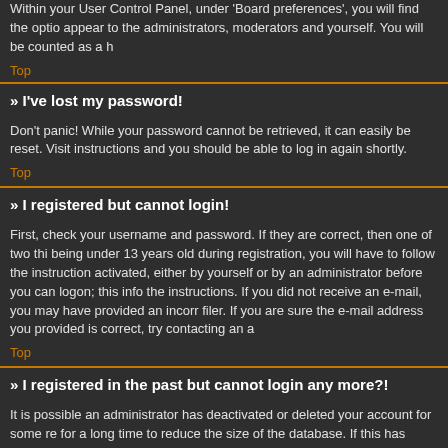Within your User Control Panel, under 'Board preferences', you will find the option to appear to the administrators, moderators and yourself. You will be counted as a h
Top
» I've lost my password!
Don't panic! While your password cannot be retrieved, it can easily be reset. Visit instructions and you should be able to log in again shortly.
Top
» I registered but cannot login!
First, check your username and password. If they are correct, then one of two thi being under 13 years old during registration, you will have to follow the instruction activated, either by yourself or by an administrator before you can logon; this info the instructions. If you did not receive an e-mail, you may have provided an incorr filer. If you are sure the e-mail address you provided is correct, try contacting an a
Top
» I registered in the past but cannot login any more?!
It is possible an administrator has deactivated or deleted your account for some re for a long time to reduce the size of the database. If this has happened, try registe
Top
» What is COPPA?
COPPA, or the Child Online Privacy and Protection Act of 1998, is a law in the Un from minors under the age of 13 to have written parental consent or some other m personally identifiable information from a minor under the age of 13. If you are un